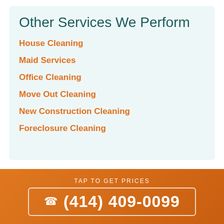Other Services We Perform
House Cleaning
Maid Services
Office Cleaning
Move Out Cleaning
New Construction Cleaning
Foreclosure Cleaning
Zips We Cover
TAP TO GET PRICES
(414) 409-0099